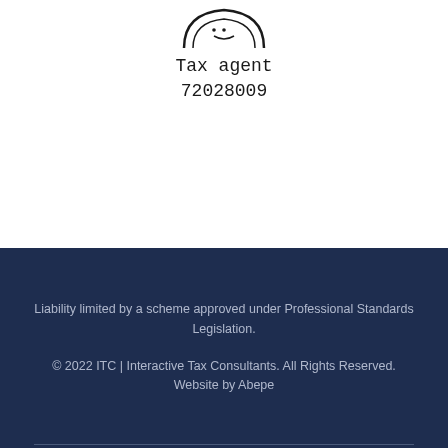[Figure (logo): Partial circular stamp/seal graphic at top, cropped at top edge]
Tax agent
72028009
Liability limited by a scheme approved under Professional Standards Legislation.
© 2022 ITC | Interactive Tax Consultants. All Rights Reserved. Website by Abepe